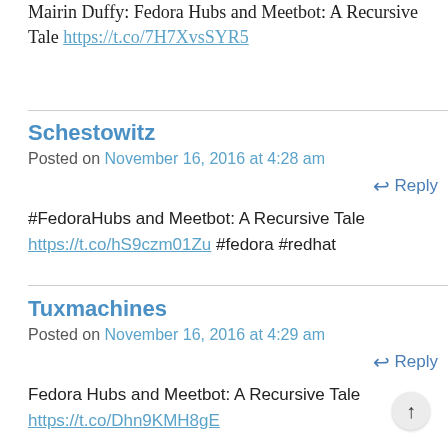Mairin Duffy: Fedora Hubs and Meetbot: A Recursive Tale https://t.co/7H7XvsSYR5
Schestowitz
Posted on November 16, 2016 at 4:28 am
Reply
#FedoraHubs and Meetbot: A Recursive Tale https://t.co/hS9czm01Zu #fedora #redhat
Tuxmachines
Posted on November 16, 2016 at 4:29 am
Reply
Fedora Hubs and Meetbot: A Recursive Tale https://t.co/Dhn9KMH8gE